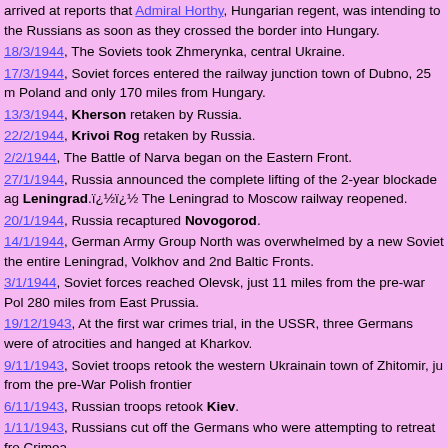...arrived at reports that Admiral Horthy, Hungarian regent, was intending to surrender to the Russians as soon as they crossed the border into Hungary.
18/3/1944, The Soviets took Zhmerynka, central Ukraine.
17/3/1944, Soviet forces entered the railway junction town of Dubno, 25 miles from Poland and only 170 miles from Hungary.
13/3/1944, Kherson retaken by Russia.
22/2/1944, Krivoi Rog retaken by Russia.
2/2/1944, The Battle of Narva began on the Eastern Front.
27/1/1944, Russia announced the complete lifting of the 2-year blockade against Leningrad.ï¿½ï¿½ï¿½ The Leningrad to Moscow railway reopened.
20/1/1944, Russia recaptured Novogorod.
14/1/1944, German Army Group North was overwhelmed by a new Soviet offensive along the entire Leningrad, Volkhov and 2nd Baltic Fronts.
3/1/1944, Soviet forces reached Olevsk, just 11 miles from the pre-war Polish border and 280 miles from East Prussia.
19/12/1943, At the first war crimes trial, in the USSR, three Germans were found guilty of atrocities and hanged at Kharkov.
9/11/1943, Soviet troops retook the western Ukrainain town of Zhitomir, just 80 miles from the pre-War Polish frontier
6/11/1943, Russian troops retook Kiev.
1/11/1943, Russians cut off the Germans who were attempting to retreat from the Crimea.
7/10/1943, Russian forces crossed the Dnieper River.
25/9/1943, The USSR retook Smolensk.
21/9/1943, The Soviet 43rd Army captured Demidov.
17/9/1943, Briansk retaken by Russia.
16/9/1943, Novorossisk retaken by Russia.